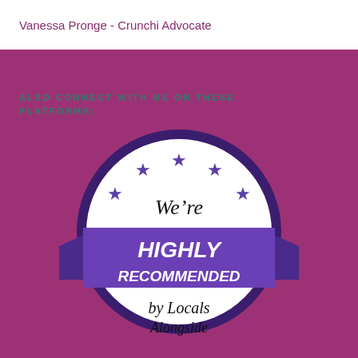Vanessa Pronge - Crunchi Advocate
ALSO CONNECT WITH ME ON THESE PLATFORMS:
[Figure (illustration): A circular badge/seal on a purple background. The badge has a white circle with a dark purple/navy border ring. Inside the circle are 6 purple stars arranged in an arc at the top. In the center-top of the circle is italic black text reading 'We're'. Across the middle is a wide purple ribbon/banner with white italic bold text reading 'HIGHLY RECOMMENDED'. Below the ribbon, inside the white circle, is italic text reading 'by Locals' and partially visible text 'Alongside' or similar. The ribbon extends to triangular tails on both left and right sides forming a classic banner shape.]